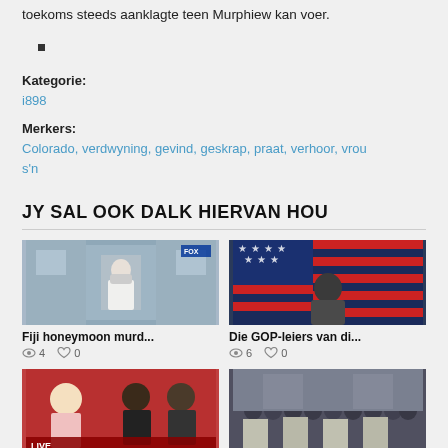toekoms steeds aanklagte teen Murphiew kan voer.
Kategorie:
i898
Merkers:
Colorado, verdwyning, gevind, geskrap, praat, verhoor, vrou s'n
JY SAL OOK DALK HIERVAN HOU
[Figure (photo): Person in white shirt with mask outside building]
Fiji honeymoon murd...
4  0
[Figure (photo): Man in front of American flag]
Die GOP-leiers van di...
6  0
[Figure (photo): TV show with blonde woman and two men]
[Figure (photo): Crowd protest with banners and photos]